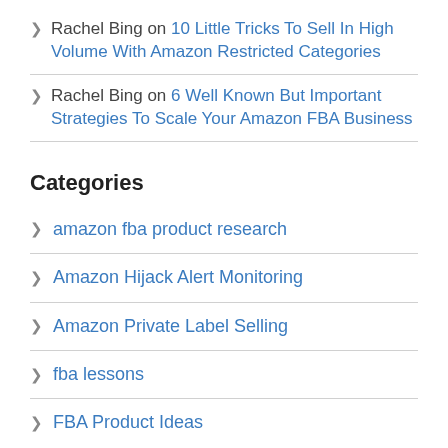Rachel Bing on 10 Little Tricks To Sell In High Volume With Amazon Restricted Categories
Rachel Bing on 6 Well Known But Important Strategies To Scale Your Amazon FBA Business
Categories
amazon fba product research
Amazon Hijack Alert Monitoring
Amazon Private Label Selling
fba lessons
FBA Product Ideas